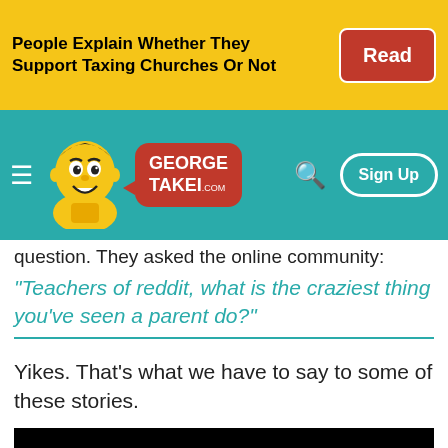People Explain Whether They Support Taxing Churches Or Not
[Figure (screenshot): George Takei .com website navigation bar with mascot logo, hamburger menu, search icon, and Sign Up button on teal background]
question. They asked the online community:
"Teachers of reddit, what is the craziest thing you've seen a parent do?"
Yikes. That's what we have to say to some of these stories.
[Figure (screenshot): Embedded video player showing black screen with a gray loading area below and a circular close button]